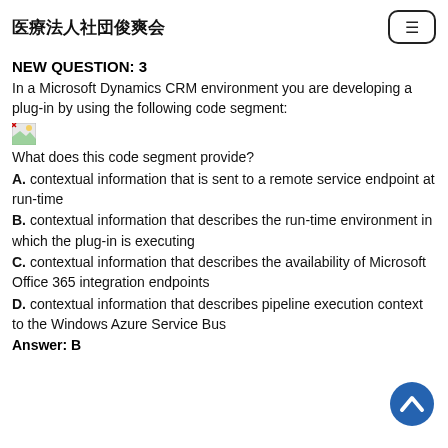医療法人社団俊爽会
NEW QUESTION: 3
In a Microsoft Dynamics CRM environment you are developing a plug-in by using the following code segment:
[Figure (other): Broken/missing image placeholder representing a code segment]
What does this code segment provide?
A. contextual information that is sent to a remote service endpoint at run-time
B. contextual information that describes the run-time environment in which the plug-in is executing
C. contextual information that describes the availability of Microsoft Office 365 integration endpoints
D. contextual information that describes pipeline execution context to the Windows Azure Service Bus
Answer: B